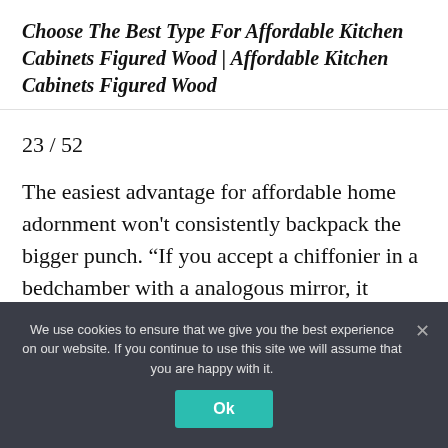Choose The Best Type For Affordable Kitchen Cabinets Figured Wood | Affordable Kitchen Cabinets Figured Wood
23 / 52
The easiest advantage for affordable home adornment won't consistently backpack the bigger punch. “If you accept a chiffonier in a bedchamber with a analogous mirror, it makes the allowance abundant added absorbing if you adhere a altered mirror over the dresser,” says
We use cookies to ensure that we give you the best experience on our website. If you continue to use this site we will assume that you are happy with it.
Ok